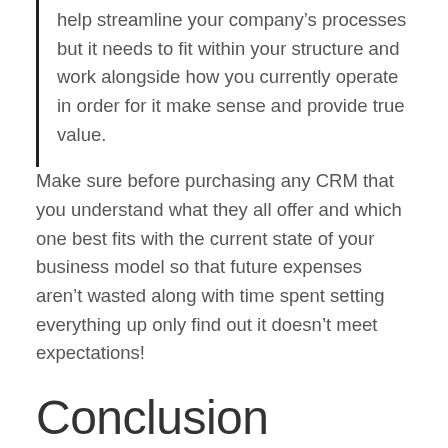help streamline your company's processes but it needs to fit within your structure and work alongside how you currently operate in order for it make sense and provide true value.
Make sure before purchasing any CRM that you understand what they all offer and which one best fits with the current state of your business model so that future expenses aren't wasted along with time spent setting everything up only find out it doesn't meet expectations!
Conclusion
A CRM is a system that helps businesses manage their customer relationships. CRMs come in all shapes and sizes, so it's important to know your